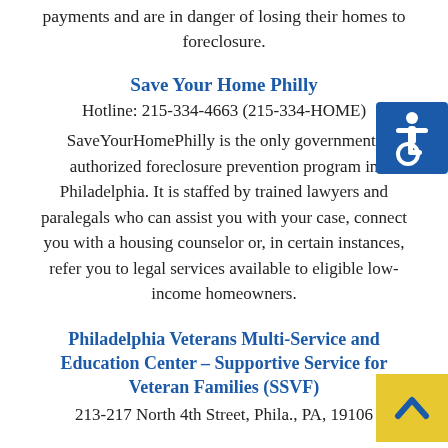payments and are in danger of losing their homes to foreclosure.
Save Your Home Philly
Hotline: 215-334-4663 (215-334-HOME)
SaveYourHomePhilly is the only government-authorized foreclosure prevention program in Philadelphia. It is staffed by trained lawyers and paralegals who can assist you with your case, connect you with a housing counselor or, in certain instances, refer you to legal services available to eligible low-income homeowners.
[Figure (logo): Blue accessibility wheelchair symbol icon]
Philadelphia Veterans Multi-Service and Education Center – Supportive Service for Veteran Families (SSVF)
213-217 North 4th Street, Phila., PA, 19106
[Figure (other): Yellow scroll-to-top button with upward chevron arrow]